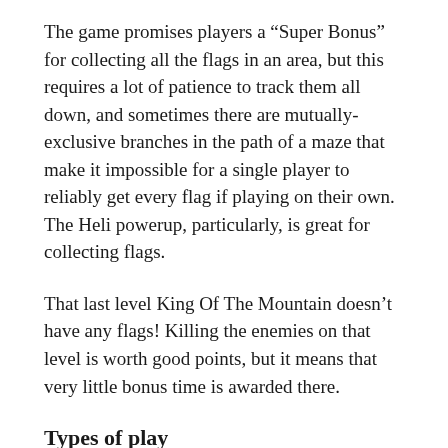The game promises players a “Super Bonus” for collecting all the flags in an area, but this requires a lot of patience to track them all down, and sometimes there are mutually-exclusive branches in the path of a maze that make it impossible for a single player to reliably get every flag if playing on their own. The Heli powerup, particularly, is great for collecting flags.
That last level King Of The Mountain doesn’t have any flags! Killing the enemies on that level is worth good points, but it means that very little bonus time is awarded there.
Types of play